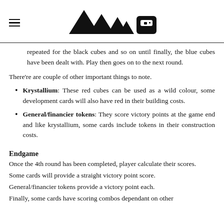≡  [logo: four triangles and a house shape]
repeated for the black cubes and so on until finally, the blue cubes have been dealt with. Play then goes on to the next round.
There're are couple of other important things to note.
Krystallium: These red cubes can be used as a wild colour, some development cards will also have red in their building costs.
General/financier tokens: They score victory points at the game end and like krystallium, some cards include tokens in their construction costs.
Endgame
Once the 4th round has been completed, player calculate their scores.
Some cards will provide a straight victory point score.
General/financier tokens provide a victory point each.
Finally, some cards have scoring combos dependant on other